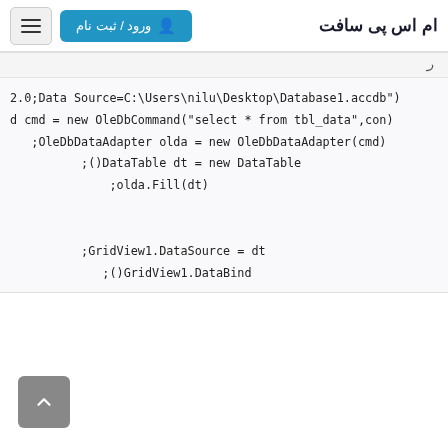ام اس پی سافت  |  ورود / ثبت نام
ر
2.0;Data Source=C:\Users\nilu\Desktop\Database1.accdb")
d cmd = new OleDbCommand("select * from tbl_data",con)
;OleDbDataAdapter olda = new OleDbDataAdapter(cmd)
;()DataTable dt = new DataTable
;olda.Fill(dt)
;GridView1.DataSource = dt
;()GridView1.DataBind